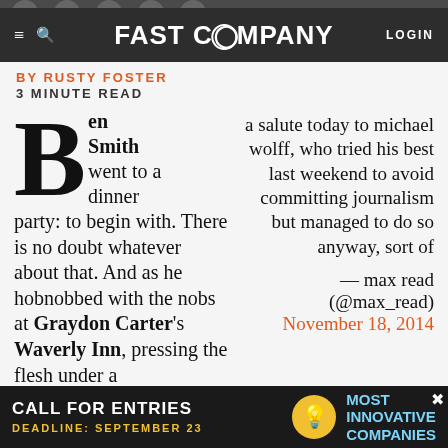FAST COMPANY
BY RUSTY FOSTER
3 MINUTE READ
Ben Smith went to a dinner party: to begin with. There is no doubt whatever about that. And as he hobnobbed with the nobs at Graydon Carter's Waverly Inn, pressing the flesh under a snowstorm of Names (Arianna, Ed Norton, Michael
a salute today to michael wolff, who tried his best last weekend to avoid committing journalism but managed to do so anyway, sort of
— max read (@max_read)
November 18, 2014
[Figure (screenshot): Advertisement banner: CALL FOR ENTRIES – Most Innovative Companies, DEADLINE: SEPTEMBER 23]